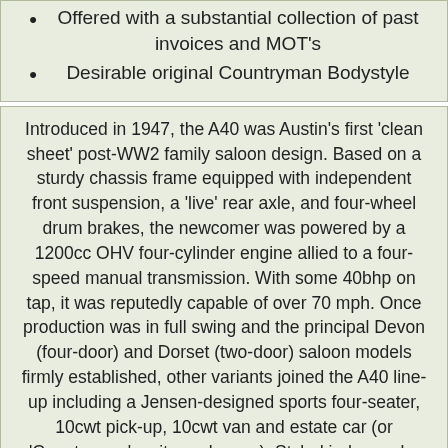Offered with a substantial collection of past invoices and MOT's
Desirable original Countryman Bodystyle
Introduced in 1947, the A40 was Austin's first 'clean sheet' post-WW2 family saloon design. Based on a sturdy chassis frame equipped with independent front suspension, a 'live' rear axle, and four-wheel drum brakes, the newcomer was powered by a 1200cc OHV four-cylinder engine allied to a four-speed manual transmission. With some 40bhp on tap, it was reputedly capable of over 70 mph. Once production was in full swing and the principal Devon (four-door) and Dorset (two-door) saloon models firmly established, other variants joined the A40 line-up including a Jensen-designed sports four-seater, 10cwt pick-up, 10cwt van and estate car (or 'Countryman' as it was known). Styled in-house by Dick Burzi, the commercial A40s contrived to be stylish yet practical. Though, today - thanks to years of overloading, stop-start motoring and general abuse - survivors are few and far between.
Finished in Keswick Green with Brown leather interior which the vendor informs is mostly original, this A40 Countryman is